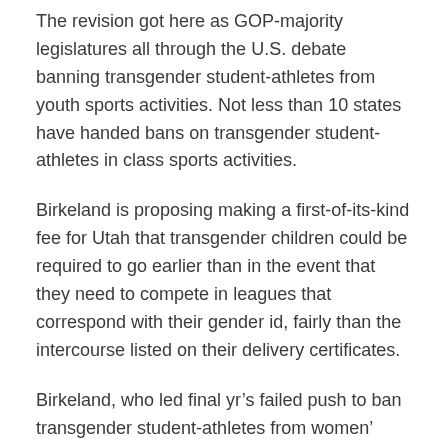The revision got here as GOP-majority legislatures all through the U.S. debate banning transgender student-athletes from youth sports activities. Not less than 10 states have handed bans on transgender student-athletes in class sports activities.
Birkeland is proposing making a first-of-its-kind fee for Utah that transgender children could be required to go earlier than in the event that they need to compete in leagues that correspond with their gender id, fairly than the intercourse listed on their delivery certificates.
Birkeland, who led final yr’s failed push to ban transgender student-athletes from women’ sports activities in Utah, stated the fee balanced two legit competing priorities: guaranteeing transgender children do not feel ostracized and defending equity in women’ sports activities.
She has framed her proposal as a compromise that may enable transgender athletes to play, whereas nonetheless answering conservatives’ issues that these gamers might